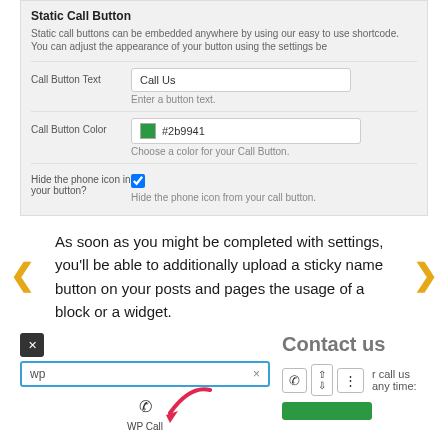[Figure (screenshot): WordPress plugin settings panel showing Static Call Button configuration with fields for Call Button Text (Call Us), Call Button Color (#2b9941), and Hide the phone icon in your button (checkbox checked).]
As soon as you might be completed with settings, you'll be able to additionally upload a sticky name button on your posts and pages the usage of a block or a widget.
[Figure (screenshot): WordPress block editor interface showing a search box with 'wp' typed, a close button, a WP Call block with a phone icon and red arrow pointing to it, and a Contact us widget panel on the right with call button controls.]